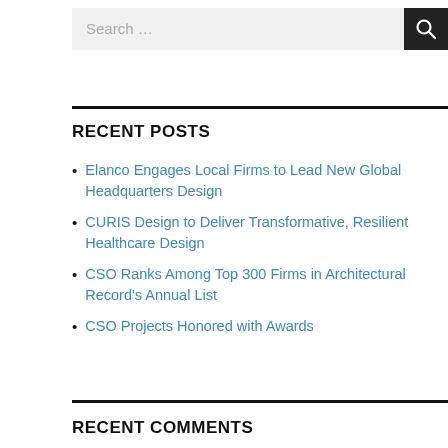[Figure (screenshot): Search bar with text 'Search ...' and a dark search button with magnifying glass icon]
RECENT POSTS
Elanco Engages Local Firms to Lead New Global Headquarters Design
CURIS Design to Deliver Transformative, Resilient Healthcare Design
CSO Ranks Among Top 300 Firms in Architectural Record's Annual List
CSO Projects Honored with Awards
RECENT COMMENTS